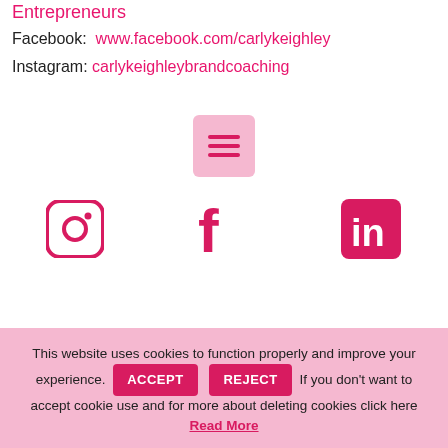Entrepreneurs
Facebook:  www.facebook.com/carlykeighley
Instagram:  carlykeighleybrandcoaching
[Figure (screenshot): Pink square button with hamburger menu icon (three horizontal lines) in magenta/pink color]
[Figure (illustration): Three social media icons in magenta/pink: Instagram camera icon, Facebook f icon, LinkedIn in icon on rounded square]
This website uses cookies to function properly and improve your experience. ACCEPT REJECT If you don't want to accept cookie use and for more about deleting cookies click here Read More